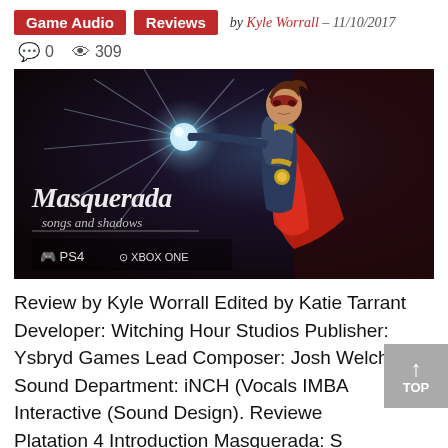Game Audio   Reviews   by Kyle Worrall - 11/10/2017
💬 0   👁 309
[Figure (illustration): Masquerada: Songs and Shadows promotional artwork showing an animated character in a red cape and mask holding a glowing orb, with the game title and platform logos (PS4, Xbox One) visible]
Review by Kyle Worrall Edited by Katie Tarrant Developer: Witching Hour Studios Publisher: Ysbryd Games Lead Composer: Josh Welchel Sound Department: iNCH (Vocals) IMBA Interactive (Sound Design). Reviewed on PlayStation 4 Introduction Masquerada: Songs and Shadows – a tactical